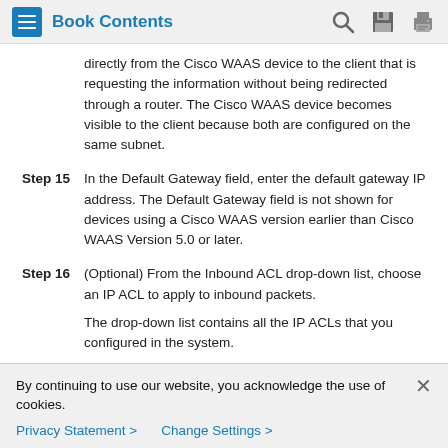Book Contents
directly from the Cisco WAAS device to the client that is requesting the information without being redirected through a router. The Cisco WAAS device becomes visible to the client because both are configured on the same subnet.
Step 15 In the Default Gateway field, enter the default gateway IP address. The Default Gateway field is not shown for devices using a Cisco WAAS version earlier than Cisco WAAS Version 5.0 or later.
Step 16 (Optional) From the Inbound ACL drop-down list, choose an IP ACL to apply to inbound packets.
The drop-down list contains all the IP ACLs that you configured in the system.
By continuing to use our website, you acknowledge the use of cookies. Privacy Statement > Change Settings >